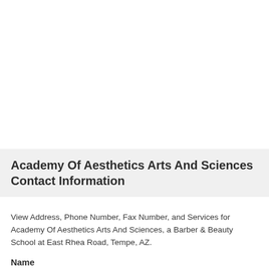Academy Of Aesthetics Arts And Sciences Contact Information
View Address, Phone Number, Fax Number, and Services for Academy Of Aesthetics Arts And Sciences, a Barber & Beauty School at East Rhea Road, Tempe, AZ.
Name
Academy Of Aesthetics Arts And Sciences
Address
1007 East Rhea Road